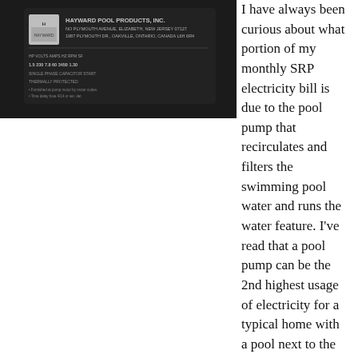[Figure (photo): Close-up photo of a Hayward Pool Products, Inc. pool pump motor label showing manufacturer details including address at Plymouth Avenue, Elizabeth, New Jersey and Plymouth Dr, Oakville, Ontario, Canada L6H 6R4]
I have always been curious about what portion of my monthly SRP electricity bill is due to the pool pump that recirculates and filters the swimming pool water and runs the water feature. I've read that a pool pump can be the 2nd highest usage of electricity for a typical home with a pool next to the air conditioner. Instead of asking somebody at the pool store and getting an anecdotal response, I looked for a more analytical answer.
The first step is to calculate the Watts used consumed. This is done by multiplying the volts x amps. To the left is the label from my pool pump. For a 230 volt motor, multiply this by 7.8 amps. The result is 1,794 Watts, or 1.8 KWh. The next step is to calculate the KWh/day by multiplying this by the hours per day the pump runs